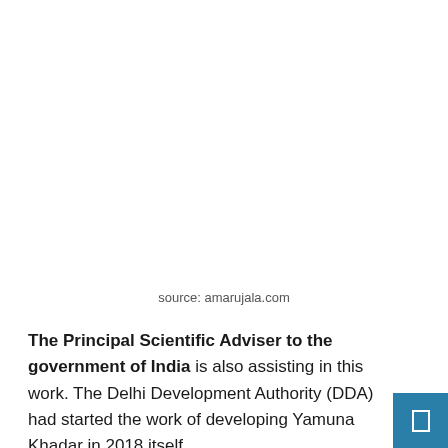source: amarujala.com
The Principal Scientific Adviser to the government of India is also assisting in this work. The Delhi Development Authority (DDA) had started the work of developing Yamuna Khadar in 2018 itself.